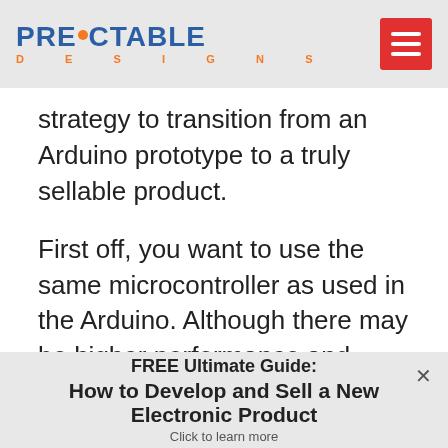PREDICTABLE DESIGNS
strategy to transition from an Arduino prototype to a truly sellable product.
First off, you want to use the same microcontroller as used in the Arduino. Although there may be higher performance and lower cost microcontrollers available, the simplest option is to just use the same
FREE Ultimate Guide: How to Develop and Sell a New Electronic Product. Click to learn more